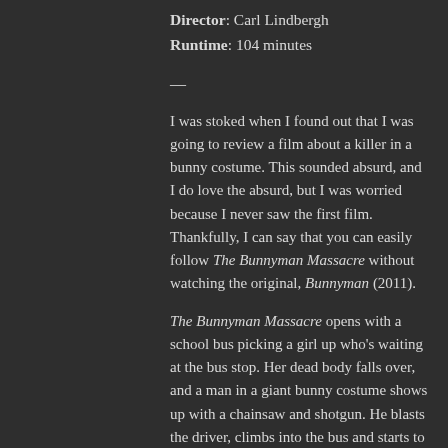Director: Carl Lindbergh
Runtime: 104 minutes
—
I was stoked when I found out that I was going to review a film about a killer in a bunny costume. This sounded absurd, and I do love the absurd, but I was worried because I never saw the first film. Thankfully, I can say that you can easily follow The Bunnyman Massacre without watching the original, Bunnyman (2011).
The Bunnyman Massacre opens with a school bus picking a girl up who's waiting at the bus stop. Her dead body falls over, and a man in a giant bunny costume shows up with a chainsaw and shotgun. He blasts the driver, climbs into the bus and starts to slaughter the kids as they try and get out of the emergency exit door. Welcome to The Bunnyman